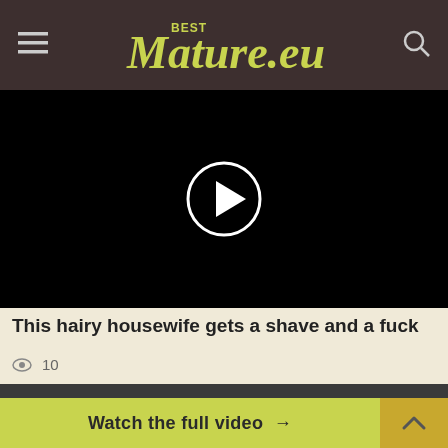BestMature.eu
[Figure (screenshot): Black video player with a circular play button in the center]
This hairy housewife gets a shave and a fuck
10
This site uses cookies. By continuing to browse the site you
Watch the full video →